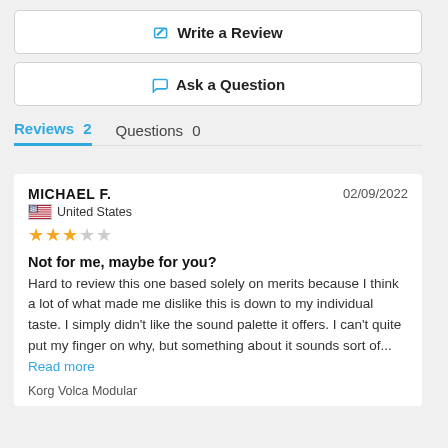Write a Review
Ask a Question
Reviews 2   Questions 0
MICHAEL F.   02/09/2022   United States   ★★★☆☆   Not for me, maybe for you?   Hard to review this one based solely on merits because I think a lot of what made me dislike this is down to my individual taste. I simply didn't like the sound palette it offers. I can't quite put my finger on why, but something about it sounds sort of...   Read more   Korg Volca Modular